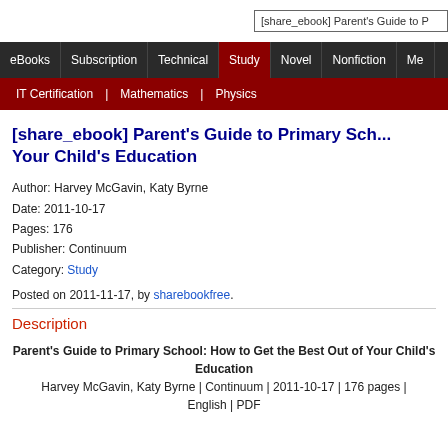[share_ebook] Parent's Guide to P
eBooks | Subscription | Technical | Study | Novel | Nonfiction | Me
IT Certification | Mathematics | Physics
[share_ebook] Parent's Guide to Primary Sch... Your Child's Education
Author: Harvey McGavin, Katy Byrne
Date: 2011-10-17
Pages: 176
Publisher: Continuum
Category: Study
Posted on 2011-11-17, by sharebookfree.
Description
Parent's Guide to Primary School: How to Get the Best Out of Your Child's Education
Harvey McGavin, Katy Byrne | Continuum | 2011-10-17 | 176 pages | English | PDF